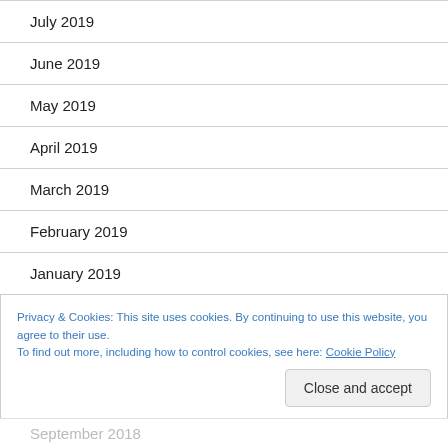July 2019
June 2019
May 2019
April 2019
March 2019
February 2019
January 2019
Privacy & Cookies: This site uses cookies. By continuing to use this website, you agree to their use.
To find out more, including how to control cookies, see here: Cookie Policy
Close and accept
September 2018